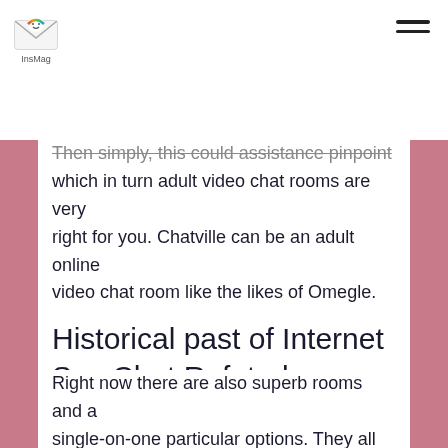InsMag logo and hamburger menu
Then simply, this could assistance pinpoint which in turn adult video chat rooms are very right for you. Chatville can be an adult online video chat room like the likes of Omegle. For that matter, it dubs itself as the best Omegle choice web-site.
Historical past of Internet Sex Chat Refuted
Right now there are also superb rooms and a single-on-one particular options. They all give you the likelihood to meet hundreds of adults